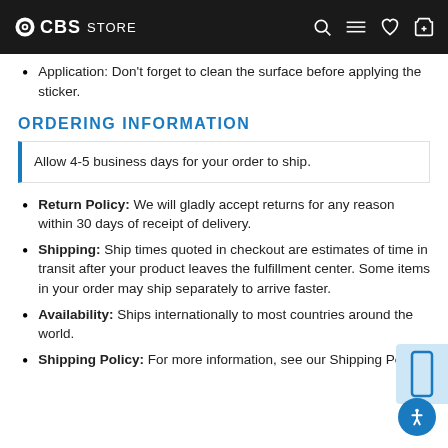CBS Store
Application: Don't forget to clean the surface before applying the sticker.
ORDERING INFORMATION
Allow 4-5 business days for your order to ship.
Return Policy: We will gladly accept returns for any reason within 30 days of receipt of delivery.
Shipping: Ship times quoted in checkout are estimates of time in transit after your product leaves the fulfillment center. Some items in your order may ship separately to arrive faster.
Availability: Ships internationally to most countries around the world.
Shipping Policy: For more information, see our Shipping Policy.